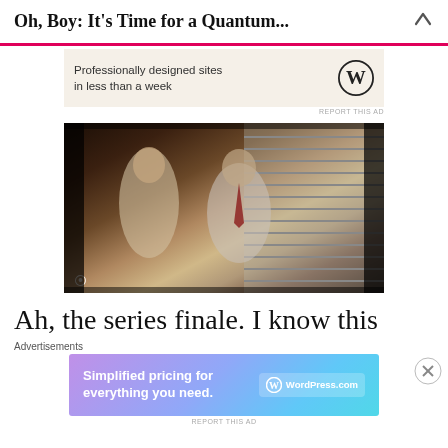Oh, Boy: It’s Time for a Quantum...
[Figure (screenshot): Advertisement banner with cream background showing WordPress logo and text 'Professionally designed sites in less than a week']
[Figure (photo): TV screenshot from what appears to be a classic TV show, two people sitting together indoors with venetian blinds in background, NBC peacock logo visible in lower left corner]
Ah, the series finale. I know this
[Figure (screenshot): WordPress.com advertisement with gradient purple-to-blue background showing 'Simplified pricing for everything you need.' with WordPress.com logo badge]